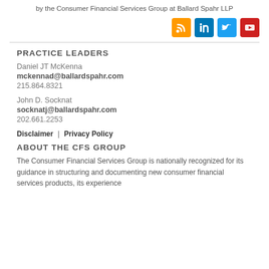by the Consumer Financial Services Group at Ballard Spahr LLP
[Figure (logo): Social media icons: RSS (orange), LinkedIn (blue), Twitter (light blue), YouTube (red)]
PRACTICE LEADERS
Daniel JT McKenna
mckennad@ballardspahr.com
215.864.8321
John D. Socknat
socknatj@ballardspahr.com
202.661.2253
Disclaimer | Privacy Policy
ABOUT THE CFS GROUP
The Consumer Financial Services Group is nationally recognized for its guidance in structuring and documenting new consumer financial services products, its experience